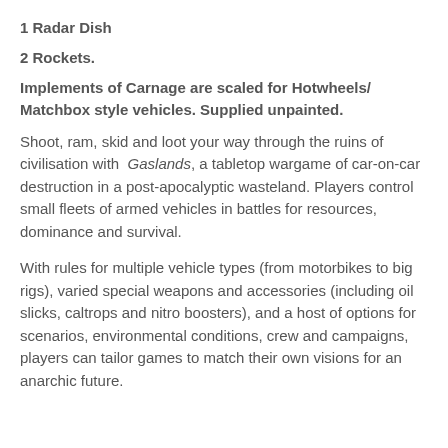1 Radar Dish
2 Rockets.
Implements of Carnage are scaled for Hotwheels/ Matchbox style vehicles. Supplied unpainted.
Shoot, ram, skid and loot your way through the ruins of civilisation with Gaslands, a tabletop wargame of car-on-car destruction in a post-apocalyptic wasteland. Players control small fleets of armed vehicles in battles for resources, dominance and survival.
With rules for multiple vehicle types (from motorbikes to big rigs), varied special weapons and accessories (including oil slicks, caltrops and nitro boosters), and a host of options for scenarios, environmental conditions, crew and campaigns, players can tailor games to match their own visions for an anarchic future.